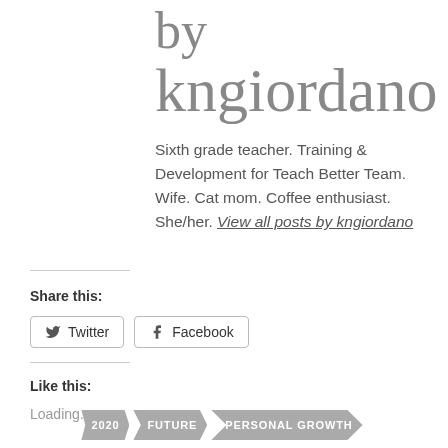by kngiordano
Sixth grade teacher. Training & Development for Teach Better Team. Wife. Cat mom. Coffee enthusiast. She/her. View all posts by kngiordano
Share this:
Twitter  Facebook
Like this:
Loading...
2020  FUTURE  PERSONAL GROWTH